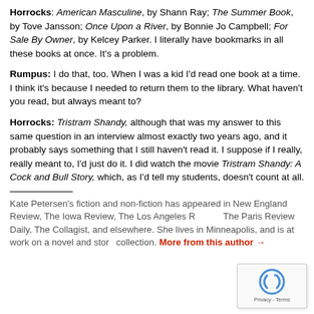Horrocks: American Masculine, by Shann Ray; The Summer Book, by Tove Jansson; Once Upon a River, by Bonnie Jo Campbell; For Sale By Owner, by Kelcey Parker. I literally have bookmarks in all these books at once. It's a problem.
Rumpus: I do that, too. When I was a kid I'd read one book at a time. I think it's because I needed to return them to the library. What haven't you read, but always meant to?
Horrocks: Tristram Shandy, although that was my answer to this same question in an interview almost exactly two years ago, and it probably says something that I still haven't read it. I suppose if I really, really meant to, I'd just do it. I did watch the movie Tristram Shandy: A Cock and Bull Story, which, as I'd tell my students, doesn't count at all.
Kate Petersen's fiction and non-fiction has appeared in New England Review, The Iowa Review, The Los Angeles Review, The Paris Review Daily, The Collagist, and elsewhere. She lives in Minneapolis, and is at work on a novel and story collection. More from this author →